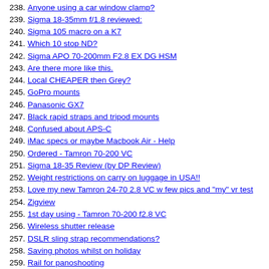238. Anyone using a car window clamp?
239. Sigma 18-35mm f/1.8 reviewed:
240. Sigma 105 macro on a K7
241. Which 10 stop ND?
242. Sigma APO 70-200mm F2.8 EX DG HSM
243. Are there more like this.
244. Local CHEAPER then Grey?
245. GoPro mounts
246. Panasonic GX7
247. Black rapid straps and tripod mounts
248. Confused about APS-C
249. iMac specs or maybe Macbook Air - Help
250. Ordered - Tamron 70-200 VC
251. Sigma 18-35 Review (by DP Review)
252. Weight restrictions on carry on luggage in USA!!
253. Love my new Tamron 24-70 2.8 VC w few pics and "my" vr test
254. Zigview
255. 1st day using - Tamron 70-200 f2.8 VC
256. Wireless shutter release
257. DSLR sling strap recommendations?
258. Saving photos whilst on holiday
259. Rail for panoshooting
260. Sigma 24-105mm f/4 OS
261. What has $5 bought me?
262. Cokin Z Pro ND grad kit experiences
263. Will a Kenko pro 300 1.4 Teleconverter work on sigma 105mm macro???
264. Portable Backdrop
265. Sigma 135mm F1.8 DG OS Art